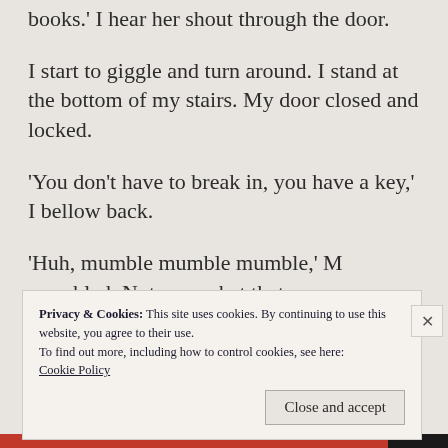books.' I hear her shout through the door.
I start to giggle and turn around. I stand at the bottom of my stairs. My door closed and locked.
'You don't have to break in, you have a key,' I bellow back.
'Huh, mumble mumble mumble,' M mumbled. Not sure what that means.
Privacy & Cookies: This site uses cookies. By continuing to use this website, you agree to their use.
To find out more, including how to control cookies, see here:
Cookie Policy
Close and accept